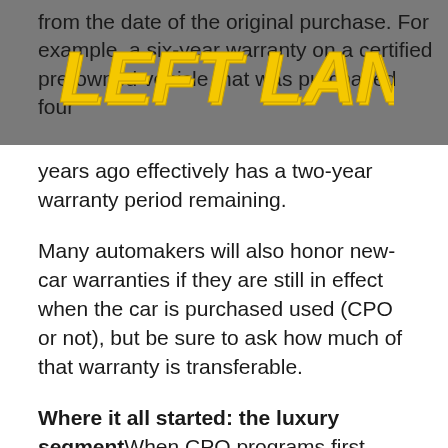[Figure (logo): Left Lane logo in bold yellow italic text on gray background]
from the date of the original purchase. For example, a six-year warranty on a certified pre-owned vehicle that was purchased four years ago effectively has a two-year warranty period remaining.
Many automakers will also honor new-car warranties if they are still in effect when the car is purchased used (CPO or not), but be sure to ask how much of that warranty is transferable.
Where it all started: the luxury segment
When CPO programs first took root in the United States, it was here, in the luxury sphere, where off-lease used vehicles in good